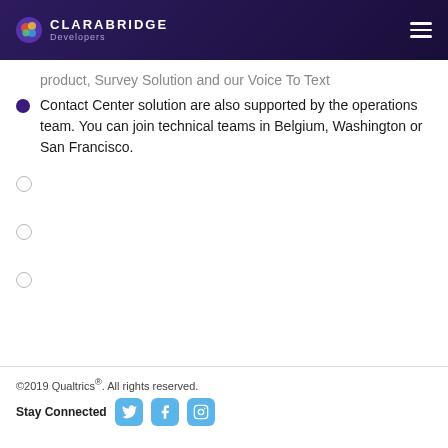CLARABRIDGE Developers
product, Survey Solution and our Voice To Text Contact Center solution are also supported by the operations team. You can join technical teams in Belgium, Washington or San Francisco.
©2019 Qualtrics®. All rights reserved. Stay Connected